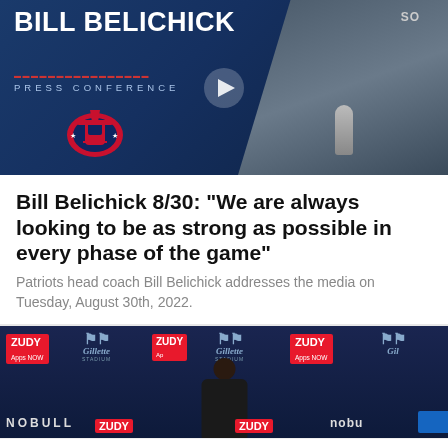[Figure (screenshot): Video thumbnail showing Bill Belichick press conference with Patriots logo on blue background]
Bill Belichick 8/30: "We are always looking to be as strong as possible in every phase of the game"
Patriots head coach Bill Belichick addresses the media on Tuesday, August 30th, 2022.
[Figure (screenshot): Second video thumbnail showing press conference with Zudy, Gillette Stadium, and NOBULL sponsor logos on dark blue background, speaker silhouette visible]
[Figure (other): Social sharing buttons: Facebook, Twitter, Email, Link]